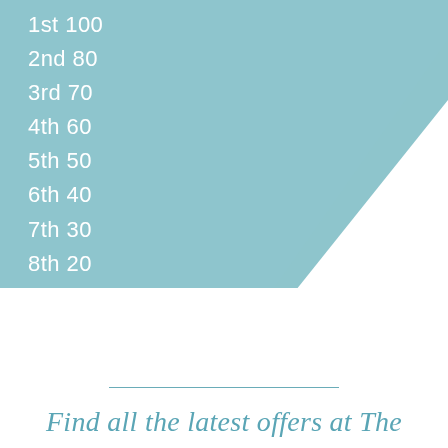1st 100
2nd 80
3rd 70
4th 60
5th 50
6th 40
7th 30
8th 20
Others 10
Find all the latest offers at The